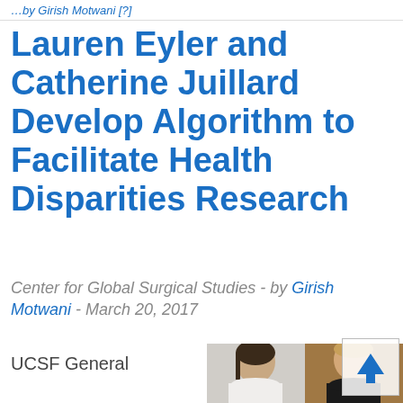…by Girish Motwani [?]
Lauren Eyler and Catherine Juillard Develop Algorithm to Facilitate Health Disparities Research
Center for Global Surgical Studies - by Girish Motwani - March 20, 2017
UCSF General
[Figure (photo): Headshots of two women (Lauren Eyler and Catherine Juillard) side by side, with a blue upward arrow overlay in the top-right corner]